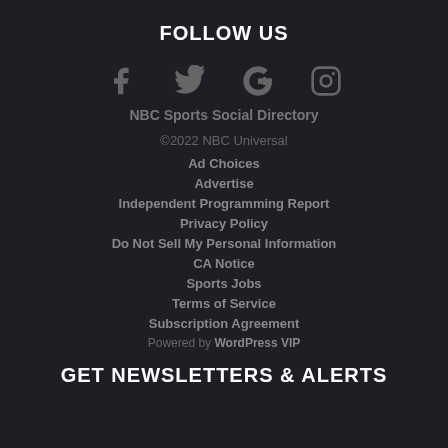FOLLOW US
[Figure (illustration): Social media icons: Facebook, Twitter, Google+, Instagram]
NBC Sports Social Directory
©2022 NBC Universal
Ad Choices
Advertise
Independent Programming Report
Privacy Policy
Do Not Sell My Personal Information
CA Notice
Sports Jobs
Terms of Service
Subscription Agreement
Powered by WordPress VIP
GET NEWSLETTERS & ALERTS